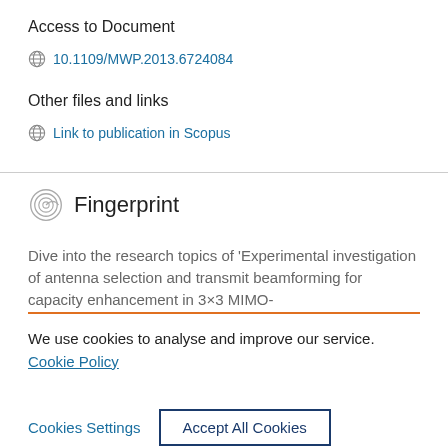Access to Document
10.1109/MWP.2013.6724084
Other files and links
Link to publication in Scopus
Fingerprint
Dive into the research topics of 'Experimental investigation of antenna selection and transmit beamforming for capacity enhancement in 3×3 MIMO-
We use cookies to analyse and improve our service. Cookie Policy
Cookies Settings
Accept All Cookies